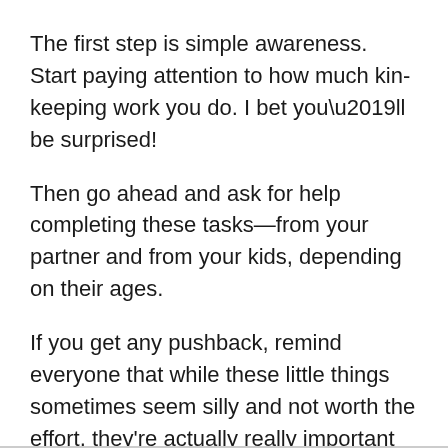The first step is simple awareness. Start paying attention to how much kin-keeping work you do. I bet you’ll be surprised!
Then go ahead and ask for help completing these tasks—from your partner and from your kids, depending on their ages.
If you get any pushback, remind everyone that while these little things sometimes seem silly and not worth the effort, they’re actually really important to maintaining family solidarity and continuity—and that having them fall entirely to one person is just too draining.